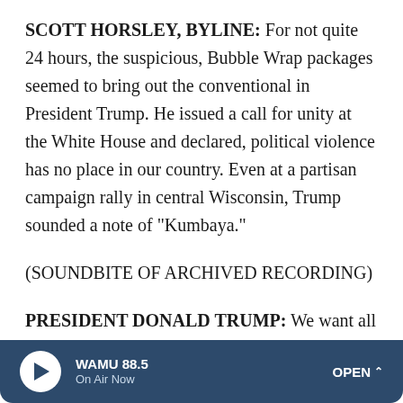SCOTT HORSLEY, BYLINE: For not quite 24 hours, the suspicious, Bubble Wrap packages seemed to bring out the conventional in President Trump. He issued a call for unity at the White House and declared, political violence has no place in our country. Even at a partisan campaign rally in central Wisconsin, Trump sounded a note of "Kumbaya."
(SOUNDBITE OF ARCHIVED RECORDING)
PRESIDENT DONALD TRUMP: We want all sides to come together in peace and harmony. We can do it. We can do it.
HORSLEY: This is exactly the sort of message one expects to hear from a president at a time when the country's frazzled nerves need soothing. Like presidents before him, Trump
WAMU 88.5 On Air Now OPEN ^